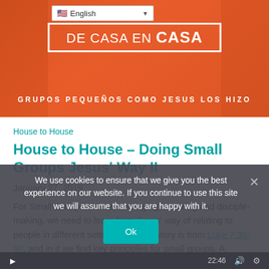[Figure (illustration): Banner image for 'De Casa en Casa' website with orange background, faces overlay, white bordered box with title text 'DE CASA EN CASA' and subtitle 'GRUPOS PEQUEÑOS COMO JESUS LOS HIZO'. Language selector showing English in top left.]
House to House
House to House – Doing Small Groups Jesus' Way II
January 27, 2019
For Small Groups to be encouraging, inspiring and disciple-making, we need to learn from Jesus' way of relating to people in different settings. Today's story is from Luke 7:36-50, and in it we find key principles for small groups. A pharisee that challenges everyone in the room, a loving leader, and a broken woman who understood how grace love and truth work.
We use cookies to ensure that we give you the best experience on our website. If you continue to use this site we will assume that you are happy with it.